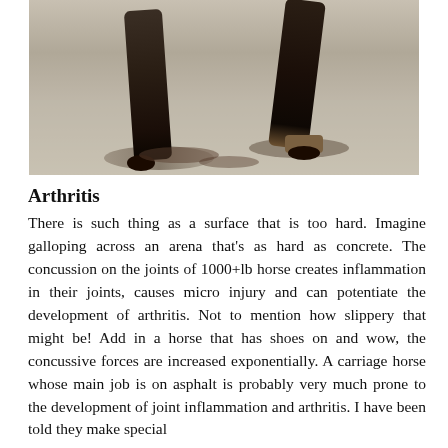[Figure (photo): Close-up photo of horse hooves/legs on a sandy or dirt surface, showing the lower legs and hooves of a horse in motion.]
Arthritis
There is such thing as a surface that is too hard. Imagine galloping across an arena that's as hard as concrete. The concussion on the joints of 1000+lb horse creates inflammation in their joints, causes micro injury and can potentiate the development of arthritis. Not to mention how slippery that might be! Add in a horse that has shoes on and wow, the concussive forces are increased exponentially. A carriage horse whose main job is on asphalt is probably very much prone to the development of joint inflammation and arthritis. I have been told they make special